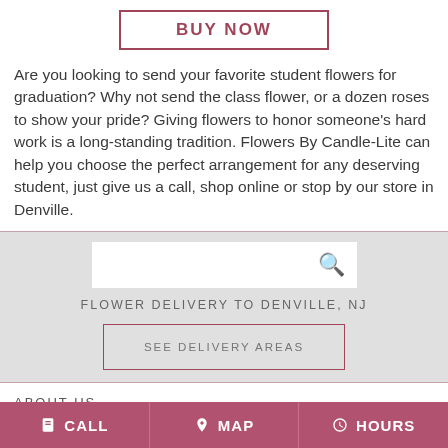BUY NOW
Are you looking to send your favorite student flowers for graduation? Why not send the class flower, or a dozen roses to show your pride? Giving flowers to honor someone's hard work is a long-standing tradition. Flowers By Candle-Lite can help you choose the perfect arrangement for any deserving student, just give us a call, shop online or stop by our store in Denville.
FLOWER DELIVERY TO DENVILLE, NJ
SEE DELIVERY AREAS
ABOUT US
CALL   MAP   HOURS